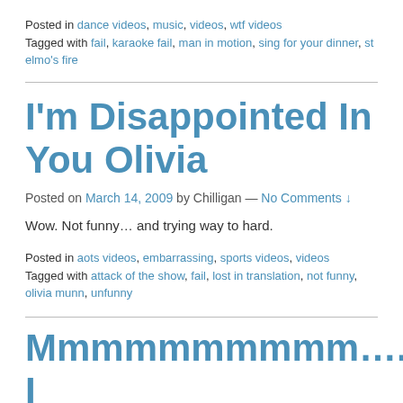Posted in dance videos, music, videos, wtf videos
Tagged with fail, karaoke fail, man in motion, sing for your dinner, st elmo's fire
I'm Disappointed In You Olivia
Posted on March 14, 2009 by Chilligan — No Comments ↓
Wow. Not funny… and trying way to hard.
Posted in aots videos, embarrassing, sports videos, videos
Tagged with attack of the show, fail, lost in translation, not funny, olivia munn, unfunny
Mmmmmmmmmm…. I